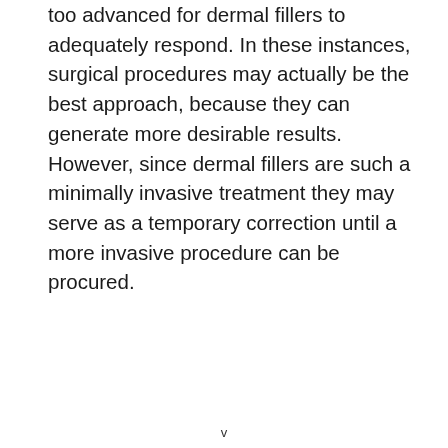too advanced for dermal fillers to adequately respond. In these instances, surgical procedures may actually be the best approach, because they can generate more desirable results. However, since dermal fillers are such a minimally invasive treatment they may serve as a temporary correction until a more invasive procedure can be procured.
v